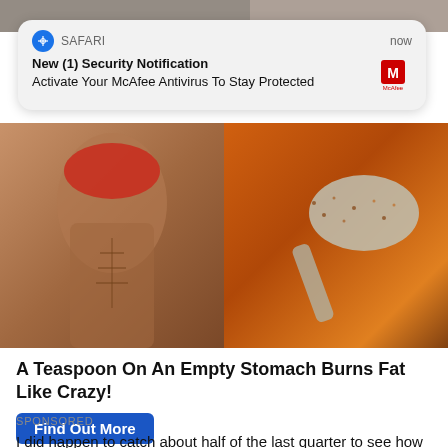[Figure (photo): Top portion of a photo showing a person and background, partially visible at top of screen]
[Figure (screenshot): Safari browser push notification card reading 'New (1) Security Notification - Activate Your McAfee Antivirus To Stay Protected' with McAfee logo]
[Figure (photo): Split ad image: left side shows a muscular person with a red bandana, right side shows a spoon with orange/brown spice or powder]
A Teaspoon On An Empty Stomach Burns Fat Like Crazy!
Find Out More
SPONSORED
I did happen to catch about half of the last quarter to see how the game would end because the ends of football games can always go in any direction. Just think back to the Patriots and Falcons Super Bowl a few years ago. Plus, I've seen how the Chiefs have been playing lately and I thought that even though